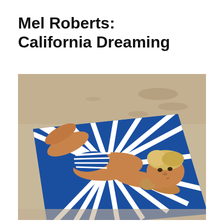Mel Roberts: California Dreaming
[Figure (photo): A young blonde boy lying on his stomach on a blue and white striped beach towel on sandy beach, resting his chin on his hands, wearing blue and white striped swim shorts, looking at the camera. The towel has a radiating stripe pattern. Sandy beach visible in background with footprints.]